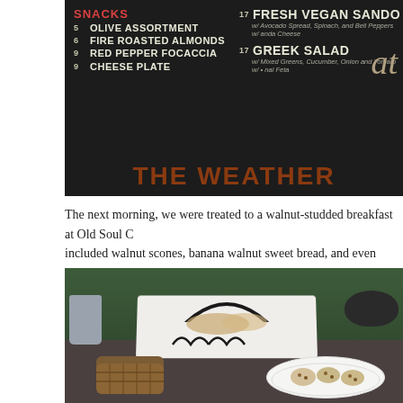[Figure (photo): A chalkboard menu at a restaurant/cafe showing snacks including Olive Assortment, Fire Roasted Almonds, Red Pepper Focaccia, Cheese Plate, Fresh Vegan Sando, Greek Salad, with 'at THE WEATHER' text visible.]
The next morning, we were treated to a walnut-studded breakfast at Old Soul C... included walnut scones, banana walnut sweet bread, and even spinach and go...
[Figure (photo): An outdoor breakfast spread on a table with bread baskets, white linen, wire basket holders, a plate of walnut scones/baked goods, a small wicker basket, mugs, and dark bowls, with green foliage in the background.]